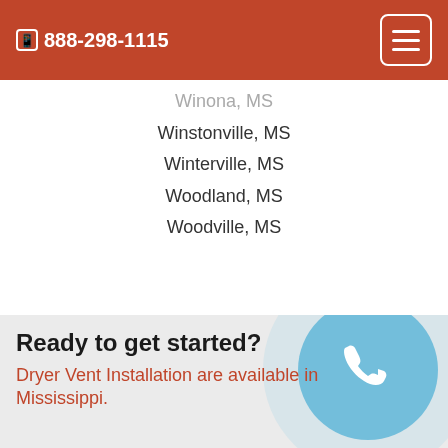888-298-1115
Winona, MS
Winstonville, MS
Winterville, MS
Woodland, MS
Woodville, MS
Ready to get started?
Dryer Vent Installation are available in Mississippi.